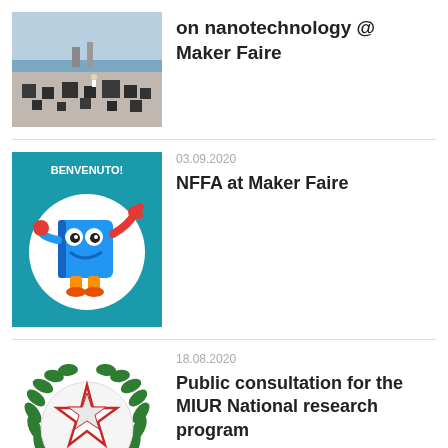[Figure (photo): Outdoor photo of a plaza or seafront with dark cube/box installations arranged across a paved area, sky and sea visible in background]
on nanotechnology @ Maker Faire
[Figure (illustration): NFFA mascot: cartoon blue book character with eyes and limbs on teal background, white circle, text BENVENUTO! at top]
03.09.2020
NFFA at Maker Faire
[Figure (logo): Italian Republic emblem (Repubblica Italiana): star with laurel branches, red ribbon banner reading REPUBBLICA ITALIANA]
18.08.2020
Public consultation for the MIUR National research program
27.07.2020